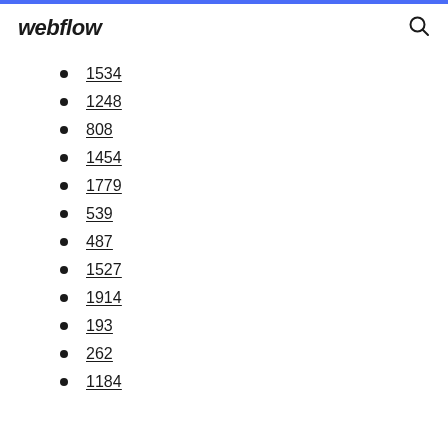webflow
1534
1248
808
1454
1779
539
487
1527
1914
193
262
1184